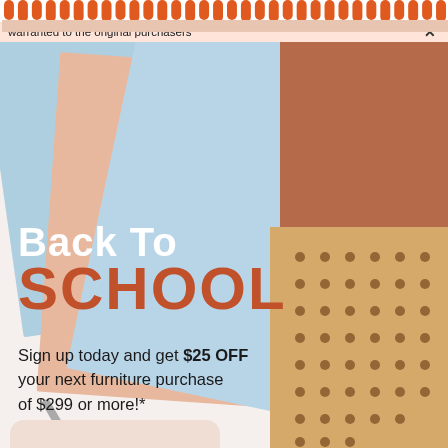warranted to the original purchasers
[Figure (photo): Back to school promotional image featuring overlapping colored notebook/folder panels in light blue, peach/pink, and kraft with polka dots, arranged in a fan-like spread on a white background]
Back To SCHOOL
Sign up today and get $25 OFF your next furniture purchase of $299 or more!*